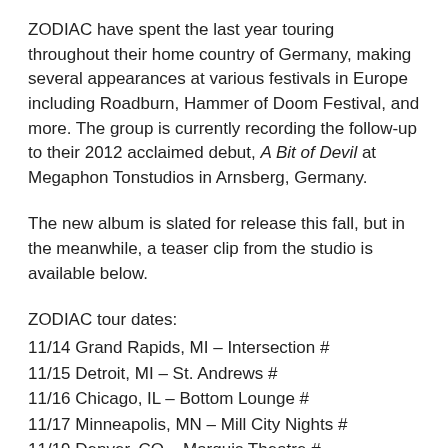ZODIAC have spent the last year touring throughout their home country of Germany, making several appearances at various festivals in Europe including Roadburn, Hammer of Doom Festival, and more. The group is currently recording the follow-up to their 2012 acclaimed debut, A Bit of Devil at Megaphon Tonstudios in Arnsberg, Germany.
The new album is slated for release this fall, but in the meanwhile, a teaser clip from the studio is available below.
ZODIAC tour dates:
11/14 Grand Rapids, MI – Intersection #
11/15 Detroit, MI – St. Andrews #
11/16 Chicago, IL – Bottom Lounge #
11/17 Minneapolis, MN – Mill City Nights #
11/19 Denver, CO – Marquis Theatre #
11/20 Salt Lake City, UT – (venue continues)